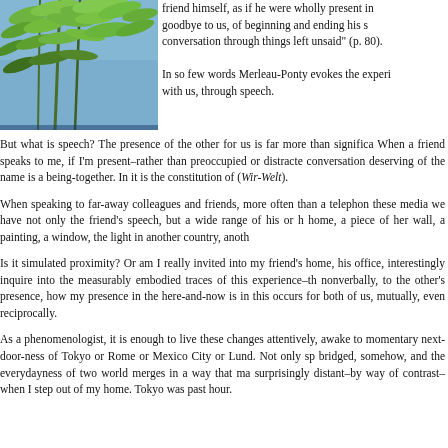[Figure (photo): Photograph of green bamboo or tree leaves against a blue sky background]
friend himself, as if he were wholly present in goodbye to us, of beginning and ending his s conversation through things left unsaid" (p. 80).
In so few words Merleau-Ponty evokes the experi with us, through speech.
But what is speech? The presence of the other for us is far more than significa When a friend speaks to me, if I'm present–rather than preoccupied or distracte conversation deserving of the name is a being-together. In it is the constitution of (Wir-Welt).
When speaking to far-away colleagues and friends, more often than a telephon these media we have not only the friend's speech, but a wide range of his or h home, a piece of her wall, a painting, a window, the light in another country, anoth
Is it simulated proximity? Or am I really invited into my friend's home, his office, interestingly inquire into the measurably embodied traces of this experience–th nonverbally, to the other's presence, how my presence in the here-and-now is in this occurs for both of us, mutually, even reciprocally.
As a phenomenologist, it is enough to live these changes attentively, awake to momentary next-door-ness of Tokyo or Rome or Mexico City or Lund. Not only sp bridged, somehow, and the everydayness of two world merges in a way that ma surprisingly distant–by way of contrast–when I step out of my home. Tokyo was past hour.